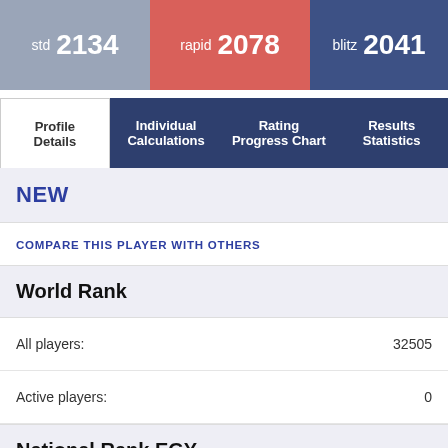std 2134 | rapid 2078 | blitz 2041
Profile Details | Individual Calculations | Rating Progress Chart | Results Statistics
NEW
COMPARE THIS PLAYER WITH OTHERS
World Rank
All players: 32505
Active players: 0
National Rank EGY